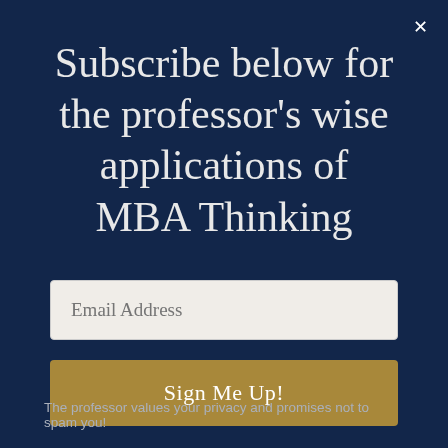Subscribe below for the professor's wise applications of MBA Thinking
Email Address
Sign Me Up!
The professor values your privacy and promises not to spam you!